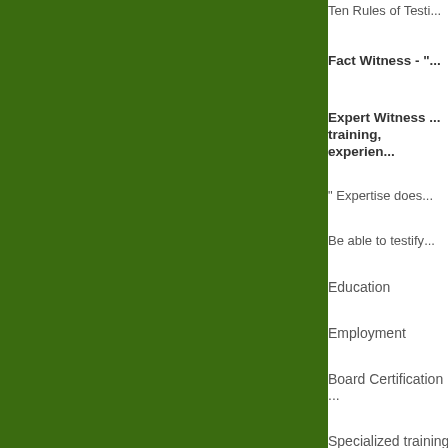[Figure (other): Dark green rectangular panel on the left side of the page]
Ten Rules of Testi...
Fact Witness - "...
Expert Witness - training, experien...
" Expertise does...
Be able to testify...
Education
Employment
Board Certification...
Specialized training...
Presentations taug...
Continuing Educati...
Awards
Publications
Prior Court testimo...
Meet With Prosecut...